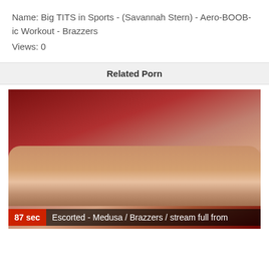Name: Big TITS in Sports - (Savannah Stern) - Aero-BOOB-ic Workout - Brazzers
Views: 0
Related Porn
[Figure (photo): Video thumbnail showing two people in an intimate scene with a red background. Duration badge shows 87 sec. Overlay text reads: Escorted - Medusa / Brazzers / stream full from]